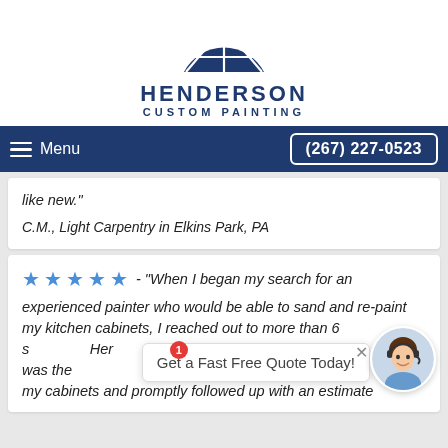[Figure (logo): Henderson Custom Painting logo: dark blue semicircle with window pane design above company name]
Menu  (267) 227-0523
like new."
C.M., Light Carpentry in Elkins Park, PA
★★★★★ - "When I began my search for an experienced painter who would be able to sand and re-paint my kitchen cabinets, I reached out to more than 6 s... Henderson was the ... d pr... my cabinets and promptly followed up with an estimate
Get a Fast Free Quote Today!